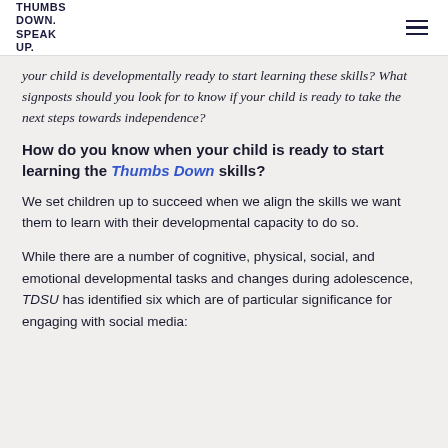THUMBS DOWN. SPEAK UP.
your child is developmentally ready to start learning these skills? What signposts should you look for to know if your child is ready to take the next steps towards independence?
How do you know when your child is ready to start learning the Thumbs Down skills?
We set children up to succeed when we align the skills we want them to learn with their developmental capacity to do so.
While there are a number of cognitive, physical, social, and emotional developmental tasks and changes during adolescence, TDSU has identified six which are of particular significance for engaging with social media: